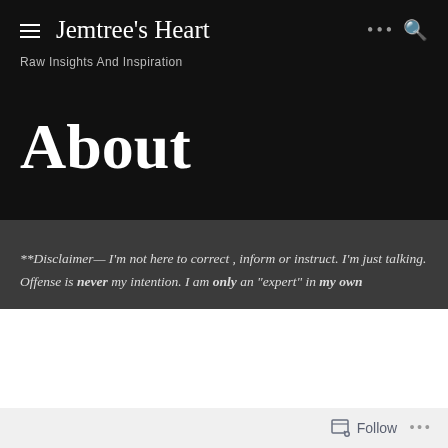Jemtree's Heart
Raw Insights And Inspiration
About
**Disclaimer— I'm not here to correct , inform or instruct. I'm just talking. Offense is never my intention. I am only an "expert" in my own